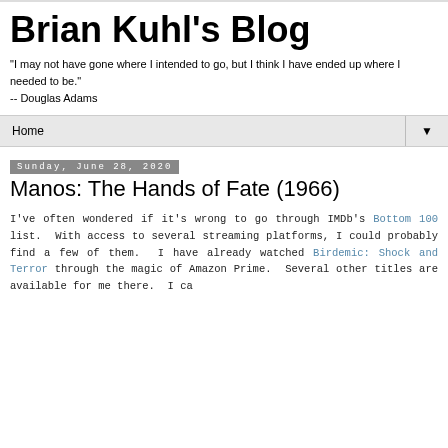Brian Kuhl's Blog
"I may not have gone where I intended to go, but I think I have ended up where I needed to be."
-- Douglas Adams
Home ▼
Sunday, June 28, 2020
Manos: The Hands of Fate (1966)
I've often wondered if it's wrong to go through IMDb's Bottom 100 list.  With access to several streaming platforms, I could probably find a few of them.  I have already watched Birdemic: Shock and Terror through the magic of Amazon Prime.  Several other titles are available for me there.  I ca...